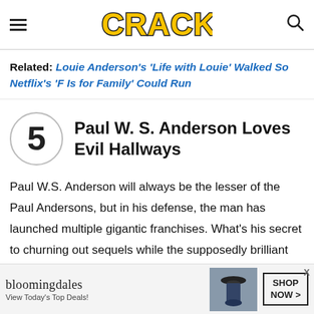CRACKED
Related: Louie Anderson's 'Life with Louie' Walked So Netflix's 'F Is for Family' Could Run
5 Paul W. S. Anderson Loves Evil Hallways
Paul W.S. Anderson will always be the lesser of the Paul Andersons, but in his defense, the man has launched multiple gigantic franchises. What's his secret to churning out sequels while the supposedly brilliant Paul Thomas Anderson has yet to make
[Figure (screenshot): Bloomingdale's advertisement banner: 'View Today's Top Deals!' with SHOP NOW button and model image]